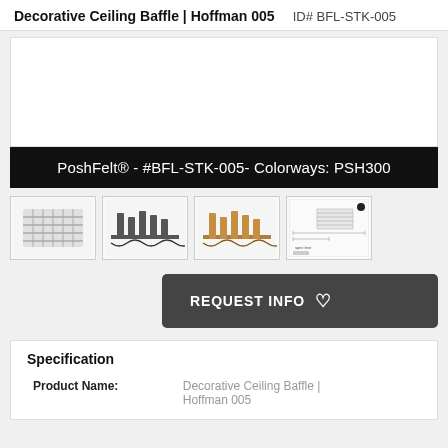Decorative Ceiling Baffle | Hoffman 005   ID# BFL-STK-005
[Figure (photo): Main product image area (white/empty space for product photo of decorative ceiling baffle)]
PoshFelt® - #BFL-STK-005- Colorways: PSH300
[Figure (photo): Thumbnail 1: Top-down view of decorative ceiling baffle in gray/silver]
[Figure (photo): Thumbnail 2: Side profile of baffle fins in dark gray]
[Figure (photo): Thumbnail 3: Side profile of baffle fins in natural wood/tan color]
[Figure (photo): Thumbnail 4: Technical specification sheet / line drawing]
REQUEST INFO ♡
Specification
| Field | Value |
| --- | --- |
| Product Name: | Decorative Ceiling Baffle | Hoffman 005 |